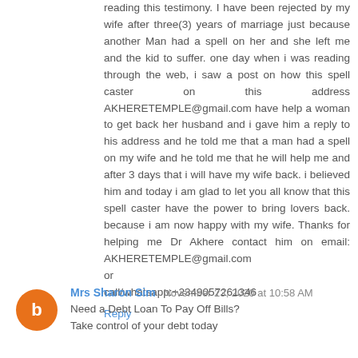reading this testimony. I have been rejected by my wife after three(3) years of marriage just because another Man had a spell on her and she left me and the kid to suffer. one day when i was reading through the web, i saw a post on how this spell caster on this address AKHERETEMPLE@gmail.com have help a woman to get back her husband and i gave him a reply to his address and he told me that a man had a spell on my wife and he told me that he will help me and after 3 days that i will have my wife back. i believed him and today i am glad to let you all know that this spell caster have the power to bring lovers back. because i am now happy with my wife. Thanks for helping me Dr Akhere contact him on email: AKHERETEMPLE@gmail.com
or
call/whatsapp:+2349057261346
Reply
Mrs Sharon Sim November 23, 2020 at 10:58 AM
Need a Debt Loan To Pay Off Bills?
Take control of your debt today